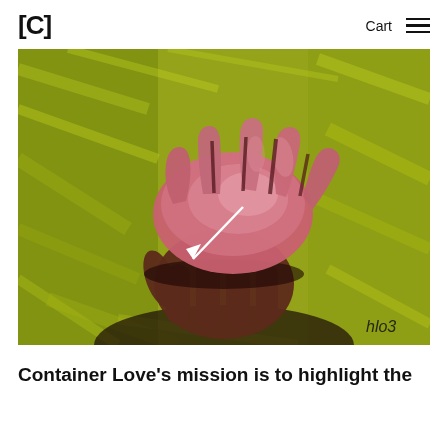[C]  Cart ☰
[Figure (illustration): A painting of two hands clasped together against a yellow-green brushstroke background. The upper hand is pink/light-skinned with fingers spread, and the lower hand is darker brown-toned. A white arrow points toward the upper hand from the left. Artist signature 'hlo3' appears in lower right corner.]
Container Love's mission is to highlight the